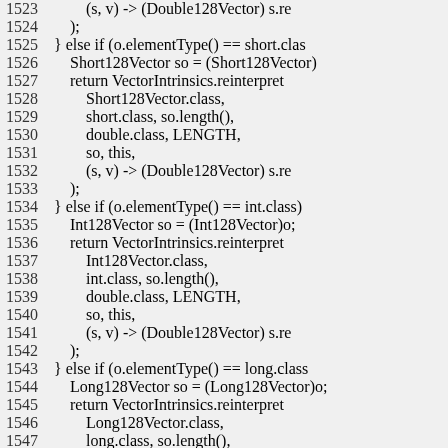Source code listing lines 1523-1552, Java vector intrinsics reinterpret methods